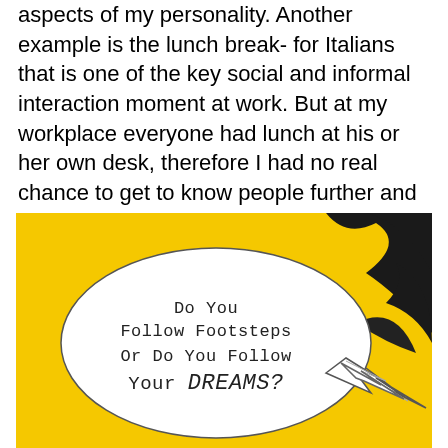aspects of my personality. Another example is the lunch break- for Italians that is one of the key social and informal interaction moment at work. But at my workplace everyone had lunch at his or her own desk, therefore I had no real chance to get to know people further and better. The after-work beer time at the pub did not make up for that need for me.
[Figure (illustration): Comic-style illustration on yellow background with a speech bubble containing the text: 'Do You Follow Footsteps Or Do You Follow Your DREAMS?' with a black graphic element on the right side.]